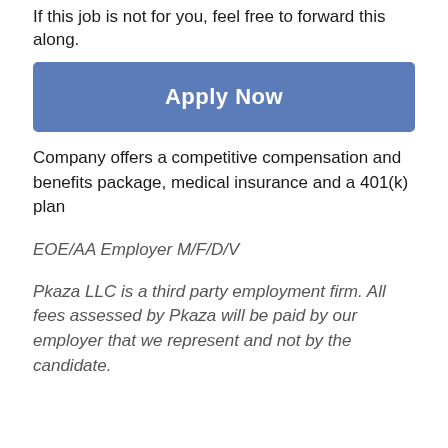If this job is not for you, feel free to forward this along.
Apply Now
Company offers a competitive compensation and benefits package, medical insurance and a 401(k) plan
EOE/AA Employer M/F/D/V
Pkaza LLC is a third party employment firm. All fees assessed by Pkaza will be paid by our employer that we represent and not by the candidate.